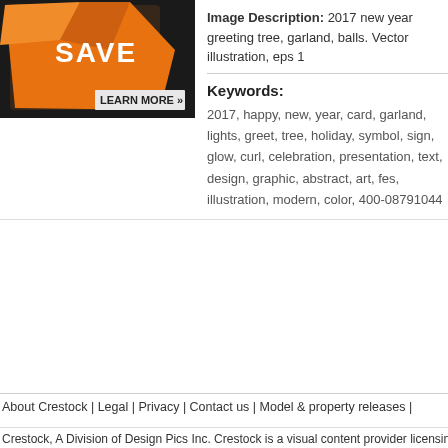[Figure (illustration): Orange sale/save banner with a large orange gift bag shape showing SAVE text, black background, and LEARN MORE text at bottom right]
Image Description: 2017 new year greeting tree, garland, balls. Vector illustration, eps 1
Keywords:
2017, happy, new, year, card, garland, lights, greet, tree, holiday, symbol, sign, glow, curl, celebration, presentation, text, design, graphic, abstract, art, fes, illustration, modern, color, 400-08791044
About Crestock | Legal | Privacy | Contact us | Model & property releases |
Crestock, A Division of Design Pics Inc. Crestock is a visual content provider licensing quality royalty-